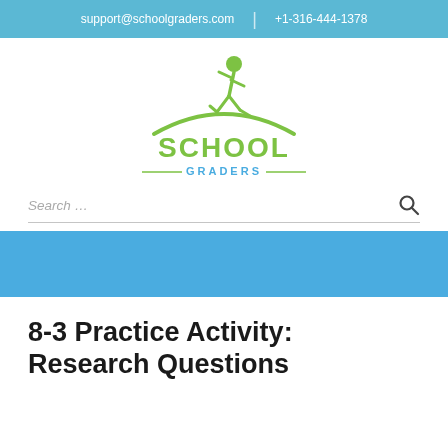support@schoolgraders.com  |  +1-316-444-1378
[Figure (logo): School Graders logo: green running child figure above a green arc, with 'SCHOOL' in large green letters and 'GRADERS' in smaller blue letters below, flanked by green horizontal lines]
Search …
8-3 Practice Activity: Research Questions